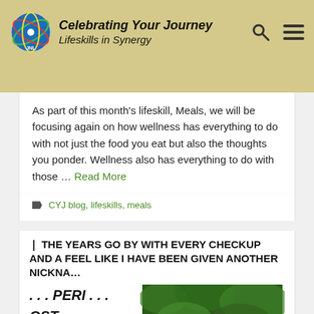Celebrating Your Journey Lifeskills in Synergy
As part of this month's lifeskill, Meals, we will be focusing again on how wellness has everything to do with not just the food you eat but also the thoughts you ponder. Wellness also has everything to do with those … Read More
CYJ blog, lifeskills, meals
AS THE YEARS GO BY WITH EVERY CHECKUP AND A FEEL LIKE I HAVE BEEN GIVEN ANOTHER NICKNAME . . . PERI . . . POST . . . .
[Figure (photo): Street sign reading MENOPA... (menopause) lane with green foliage background, overlaid with ProtectionPower Malware Free badge]